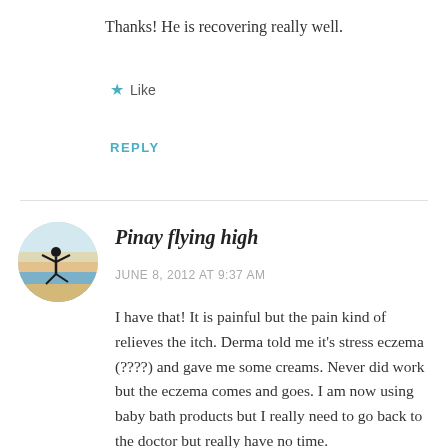Thanks! He is recovering really well.
★ Like
REPLY
[Figure (photo): Circular avatar image of a person jumping on a beach at sunset.]
Pinay flying high
JUNE 8, 2012 AT 9:37 AM
I have that! It is painful but the pain kind of relieves the itch. Derma told me it's stress eczema (????) and gave me some creams. Never did work but the eczema comes and goes. I am now using baby bath products but I really need to go back to the doctor but really have no time.